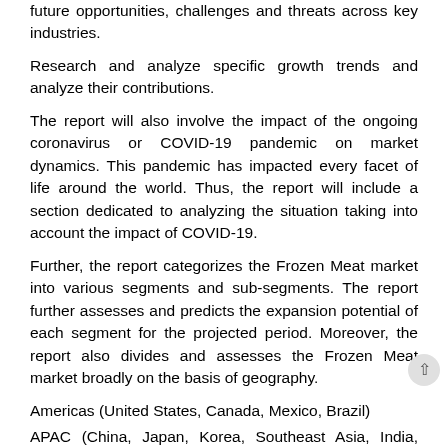future opportunities, challenges and threats across key industries.
Research and analyze specific growth trends and analyze their contributions.
The report will also involve the impact of the ongoing coronavirus or COVID-19 pandemic on market dynamics. This pandemic has impacted every facet of life around the world. Thus, the report will include a section dedicated to analyzing the situation taking into account the impact of COVID-19.
Further, the report categorizes the Frozen Meat market into various segments and sub-segments. The report further assesses and predicts the expansion potential of each segment for the projected period. Moreover, the report also divides and assesses the Frozen Meat market broadly on the basis of geography.
Americas (United States, Canada, Mexico, Brazil)
APAC (China, Japan, Korea, Southeast Asia, India, Australia)